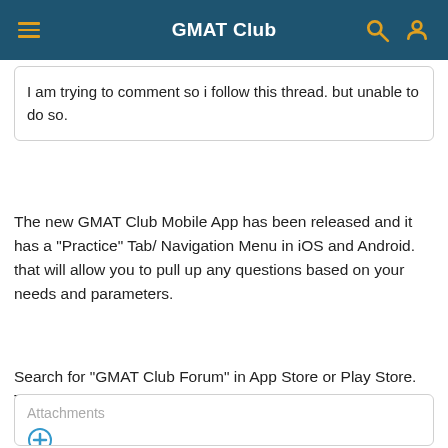GMAT Club
I am trying to comment so i follow this thread. but unable to do so.
The new GMAT Club Mobile App has been released and it has a "Practice" Tab/ Navigation Menu in iOS and Android. that will allow you to pull up any questions based on your needs and parameters.
Search for "GMAT Club Forum" in App Store or Play Store. Thx!
Attachments